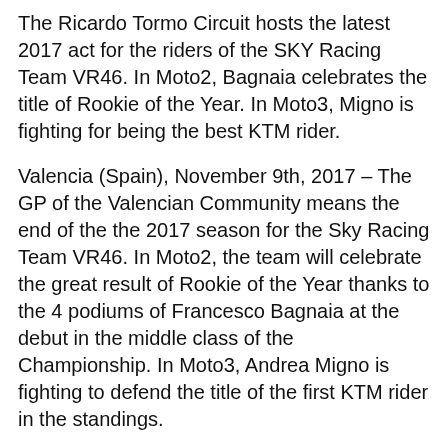The Ricardo Tormo Circuit hosts the latest 2017 act for the riders of the SKY Racing Team VR46. In Moto2, Bagnaia celebrates the title of Rookie of the Year. In Moto3, Migno is fighting for being the best KTM rider.
Valencia (Spain), November 9th, 2017 – The GP of the Valencian Community means the end of the the 2017 season for the Sky Racing Team VR46. In Moto2, the team will celebrate the great result of Rookie of the Year thanks to the 4 podiums of Francesco Bagnaia at the debut in the middle class of the Championship. In Moto3, Andrea Migno is fighting to defend the title of the first KTM rider in the standings.
We use cookies on this site to enhance your user experience
By clicking any link on this page you are giving your consent for us to set cookies. No, give me more info
OK, I agree